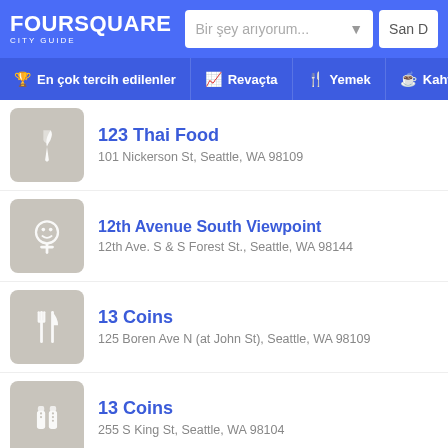FOURSQUARE CITY GUIDE
123 Thai Food — 101 Nickerson St, Seattle, WA 98109
12th Avenue South Viewpoint — 12th Ave. S & S Forest St., Seattle, WA 98144
13 Coins — 125 Boren Ave N (at John St), Seattle, WA 98109
13 Coins — 255 S King St, Seattle, WA 98104
19 Gold — 3601 Fremont Ave N Ste 101, Seattle, WA 98103